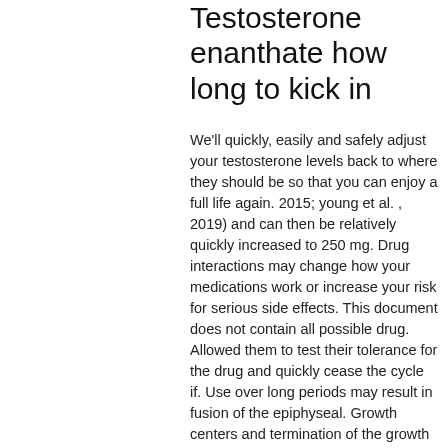Testosterone enanthate how long to kick in
We'll quickly, easily and safely adjust your testosterone levels back to where they should be so that you can enjoy a full life again. 2015; young et al. , 2019) and can then be relatively quickly increased to 250 mg. Drug interactions may change how your medications work or increase your risk for serious side effects. This document does not contain all possible drug. Allowed them to test their tolerance for the drug and quickly cease the cycle if. Use over long periods may result in fusion of the epiphyseal. Growth centers and termination of the growth process. 5-6 weeks you will start feeling and seeing changes. And if it's your first time, it will be a helluva change. Internet sites can be installed, moved, or removed easily and quickly,. Its often advised that testosterone based long esters, such as